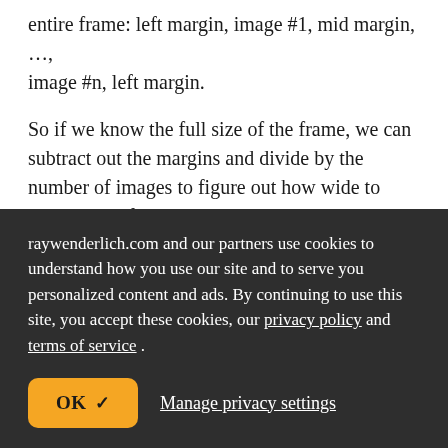entire frame: left margin, image #1, mid margin, …, image #n, left margin.
So if we know the full size of the frame, we can subtract out the margins and divide by the number of images to figure out how wide to make each of the UIImageViews.
Once we know that, we simply loop through and
raywenderlich.com and our partners use cookies to understand how you use our site and to serve you personalized content and ads. By continuing to use this site, you accept these cookies, our privacy policy and terms of service.
OK ✓   Manage privacy settings